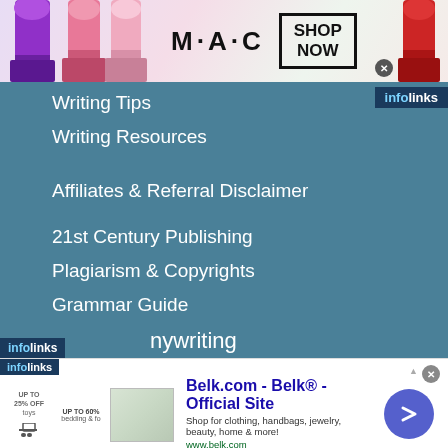[Figure (photo): MAC cosmetics advertisement banner with colorful lipsticks and SHOP NOW button]
Writing Tips
Writing Resources
Affiliates & Referral Disclaimer
21st Century Publishing
Plagiarism & Copyrights
Grammar Guide
[Figure (screenshot): Belk.com advertisement banner at bottom of page with clothing/bedding image, text and arrow button]
nywriting